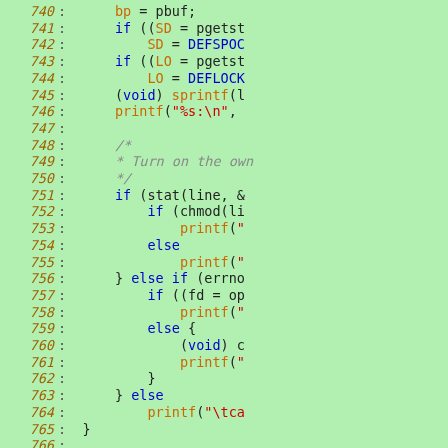[Figure (screenshot): Source code listing showing C code lines 740-769 with syntax highlighting. Line numbers shown in orange-brown italic on left side. Keywords in blue, function calls in orange, comments in gray italic, strings in red. Background is light green.]